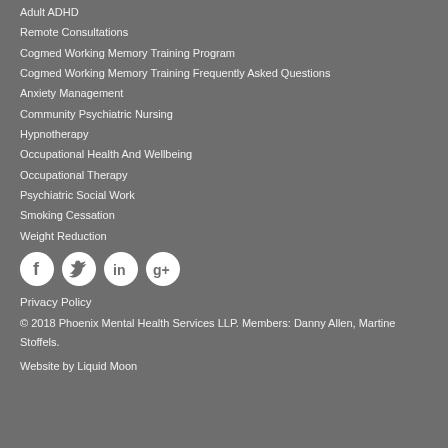Adult ADHD
Remote Consultations
Cogmed Working Memory Training Program
Cogmed Working Memory Training Frequently Asked Questions
Anxiety Management
Community Psychiatric Nursing
Hypnotherapy
Occupational Health And Wellbeing
Occupational Therapy
Psychiatric Social Work
Smoking Cessation
Weight Reduction
[Figure (other): Social media icons: Facebook, Twitter, LinkedIn, Google+]
Privacy Policy
© 2018 Phoenix Mental Health Services LLP. Members: Danny Allen, Martine Stoffels.
Website by Liquid Moon